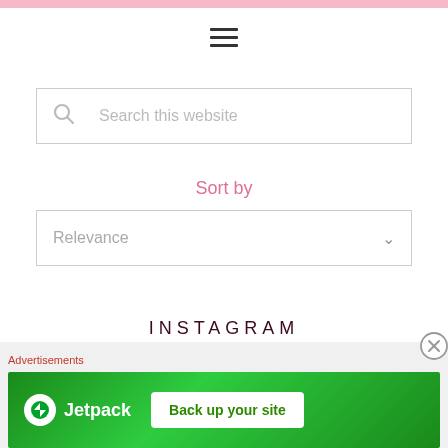[Figure (screenshot): Pink top navigation bar with hamburger menu icon (three horizontal lines)]
[Figure (screenshot): Search box with magnifying glass icon and placeholder text 'Search this website']
Sort by
[Figure (screenshot): Dropdown selector showing 'Relevance' with chevron arrow]
INSTAGRAM
Advertisements
[Figure (screenshot): Jetpack advertisement banner with green background, Jetpack logo and 'Back up your site' button]